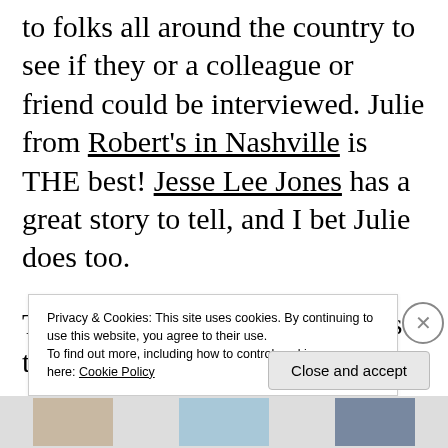to folks all around the country to see if they or a colleague or friend could be interviewed. Julie from Robert's in Nashville is THE best! Jesse Lee Jones has a great story to tell, and I bet Julie does too.

The following city, in Memphis they were interviewed for a post on The
Privacy & Cookies: This site uses cookies. By continuing to use this website, you agree to their use.
To find out more, including how to control cookies, see here: Cookie Policy
Close and accept